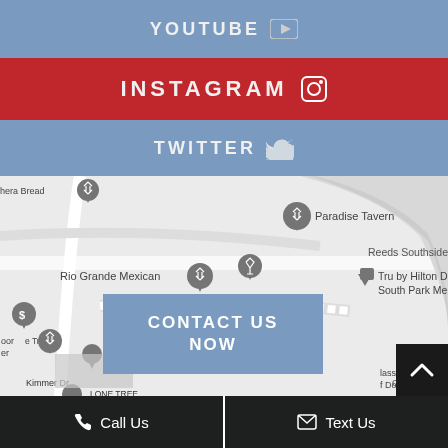YOUTUBE
INSTAGRAM
TWITTER
[Figure (map): Google Maps screenshot showing area near Park Meadows Dr, Lone Tree/Denver area with landmarks including Paradise Tavern, Rio Grande Mexican, Tru by Hilton Denver South Park Meadows, Rocky Mountain Law Enforcement, Kimmer Dr, and highway 470.]
CONTACT US NOW
Call Us
Text Us